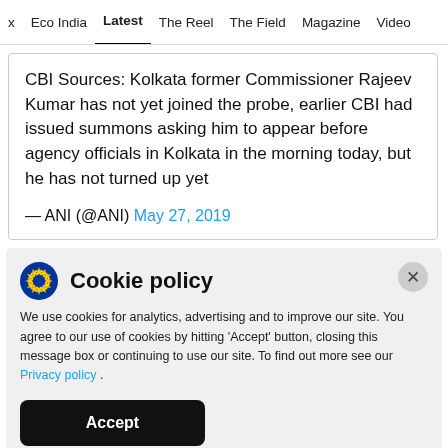Eco India  Latest  The Reel  The Field  Magazine  Video
CBI Sources: Kolkata former Commissioner Rajeev Kumar has not yet joined the probe, earlier CBI had issued summons asking him to appear before agency officials in Kolkata in the morning today, but he has not turned up yet

— ANI (@ANI) May 27, 2019
Cookie policy
We use cookies for analytics, advertising and to improve our site. You agree to our use of cookies by hitting 'Accept' button, closing this message box or continuing to use our site. To find out more see our Privacy policy .